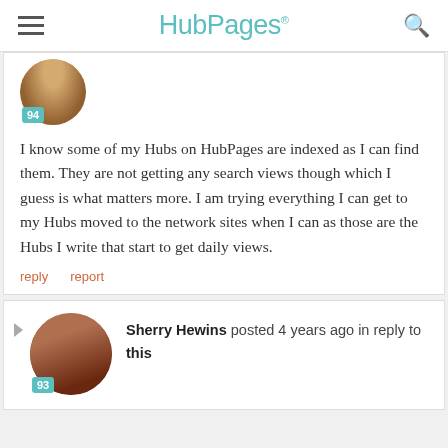HubPages
[Figure (photo): Partial circular avatar of a person with score badge showing 94]
I know some of my Hubs on HubPages are indexed as I can find them. They are not getting any search views though which I guess is what matters more. I am trying everything I can get to my Hubs moved to the network sites when I can as those are the Hubs I write that start to get daily views.
reply   report
[Figure (photo): Circular avatar of Sherry Hewins with score badge showing 93]
Sherry Hewins posted 4 years ago in reply to this